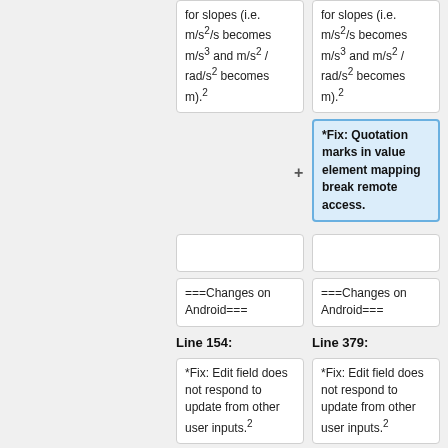for slopes (i.e. m/s²/s becomes m/s³ and m/s² / rad/s² becomes m).²
for slopes (i.e. m/s²/s becomes m/s³ and m/s² / rad/s² becomes m).²
*Fix: Quotation marks in value element mapping break remote access.
===Changes on Android===
===Changes on Android===
Line 154:
Line 379:
*Fix: Edit field does not respond to update from other user inputs.²
*Fix: Edit field does not respond to update from other user inputs.²